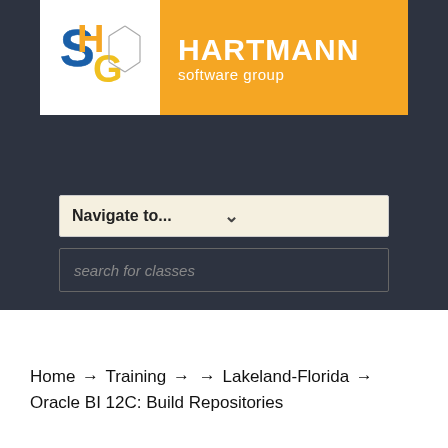[Figure (logo): Hartmann Software Group logo with stylized HSG letters in blue, orange, yellow and a 3D cube shape, next to orange banner with HARTMANN software group text in white]
Navigate to...
search for classes
Home → Training → → Lakeland-Florida → Oracle BI 12C: Build Repositories